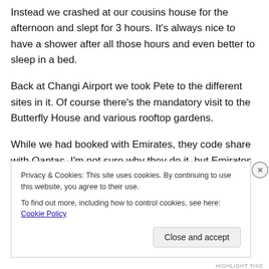Instead we crashed at our cousins house for the afternoon and slept for 3 hours. It's always nice to have a shower after all those hours and even better to sleep in a bed.
Back at Changi Airport we took Pete to the different sites in it. Of course there's the mandatory visit to the Butterfly House and various rooftop gardens.
While we had booked with Emirates, they code share with Qantas. I'm not sure why they do it, but Emirates is WAY better than Qantas. Qantas always have the worst food for
Privacy & Cookies: This site uses cookies. By continuing to use this website, you agree to their use.
To find out more, including how to control cookies, see here: Cookie Policy
Close and accept